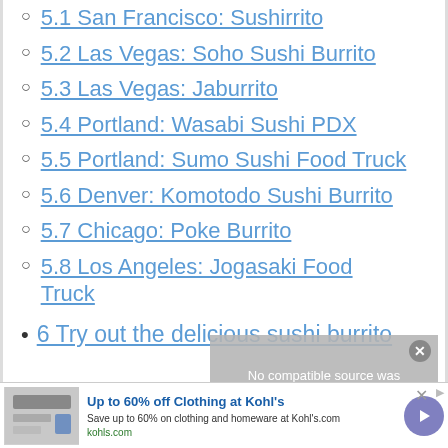5.1 San Francisco: Sushirrito
5.2 Las Vegas: Soho Sushi Burrito
5.3 Las Vegas: Jaburrito
5.4 Portland: Wasabi Sushi PDX
5.5 Portland: Sumo Sushi Food Truck
5.6 Denver: Komotodo Sushi Burrito
5.7 Chicago: Poke Burrito
5.8 Los Angeles: Jogasaki Food Truck
6 Try out the delicious sushi burrito
[Figure (screenshot): Video player overlay showing 'No compatible source was found for this media.' with a close button.]
[Figure (screenshot): Advertisement banner: Up to 60% off Clothing at Kohl's. Save up to 60% on clothing and homeware at Kohl's.com. kohls.com]